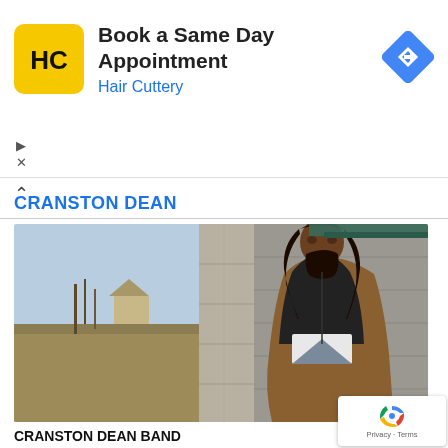[Figure (infographic): Hair Cuttery advertisement banner with yellow HC logo, text 'Book a Same Day Appointment / Hair Cuttery', blue navigation diamond icon on right, and ad controls (triangle and X) on left bottom]
CRANSTON DEAN
[Figure (photo): Man with long dark hair and beard wearing black hoodie and brown jacket, leaning against a stone/concrete pillar outside, with a grassy field and bare trees visible in background on the left side]
CRANSTON DEAN BAND
LISTEN
[Figure (logo): Google reCAPTCHA badge with blue/red/green spinning arrows logo and 'Privacy · Terms' text]